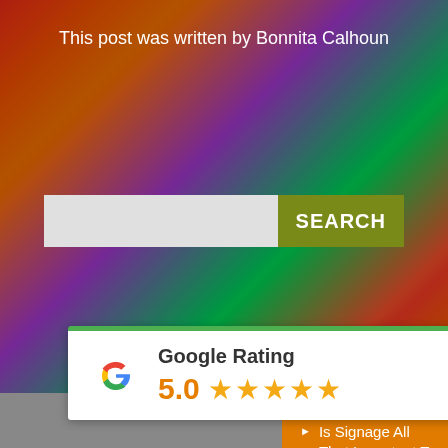This post was written by Bonnita Calhoun
[Figure (screenshot): Search bar with white input field and olive green SEARCH button]
Recent Posts
Is Signage All That Important To Your Business?
Gracing Lake Towers Association's Entrance And Exit With HDU Signs
3 Ways That Signage Works To Grow Your Business
Preparing For The New School New Signage
...aylor Physical Therapy ...Find Their Way
[Figure (screenshot): Google Rating widget showing 5.0 stars with Google G logo and green top border]